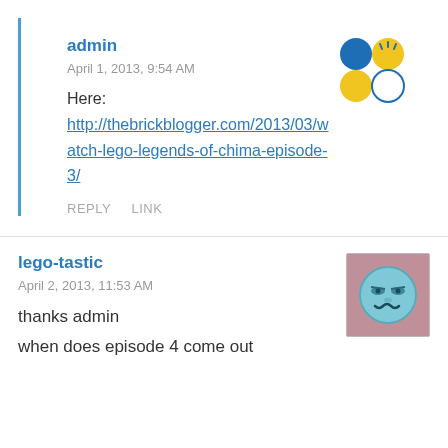admin
April 1, 2013, 9:54 AM
[Figure (logo): Admin avatar: four colored circles arranged in a 2x2 grid — blue (top-left), yellow (top-right), yellow (bottom-left), white/outline (bottom-right) with small decorative lines]
Here:
http://thebrickblogger.com/2013/03/watch-lego-legends-of-chima-episode-3/
REPLY   LINK
lego-tastic
April 2, 2013, 11:53 AM
[Figure (illustration): Cartoon avatar of a blue round face with squinting eyes and a wavy/annoyed mouth expression, on a pink/mauve background]
thanks admin
when does episode 4 come out